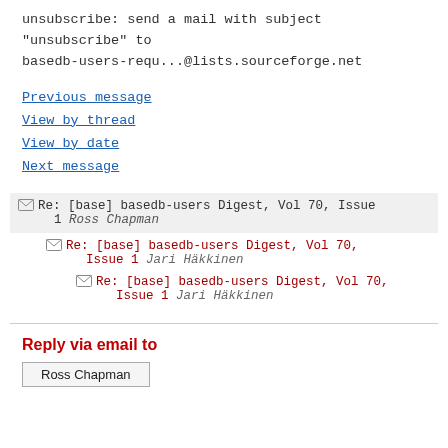unsubscribe: send a mail with subject "unsubscribe" to basedb-users-requ...@lists.sourceforge.net
Previous message
View by thread
View by date
Next message
Re: [base] basedb-users Digest, Vol 70, Issue 1 Ross Chapman
Re: [base] basedb-users Digest, Vol 70, Issue 1 Jari Häkkinen
Re: [base] basedb-users Digest, Vol 70, Issue 1 Jari Häkkinen
Reply via email to
Ross Chapman